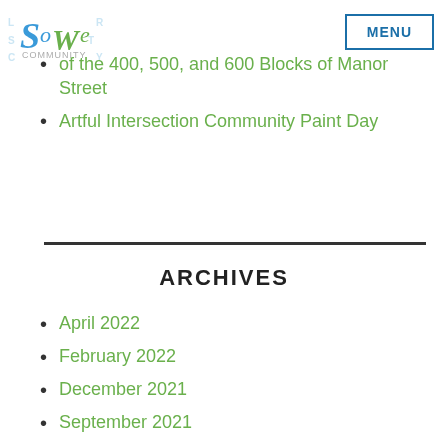SoWe Community | MENU
of the 400, 500, and 600 Blocks of Manor Street
Artful Intersection Community Paint Day
ARCHIVES
April 2022
February 2022
December 2021
September 2021
August 2021
June 2021